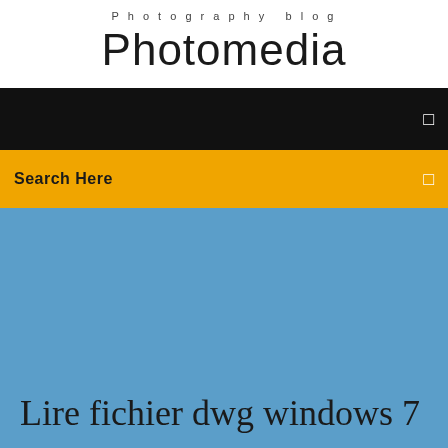Photography blog
Photomedia
[Figure (screenshot): Black navigation bar with a white menu icon on the right]
Search Here
Lire fichier dwg windows 7